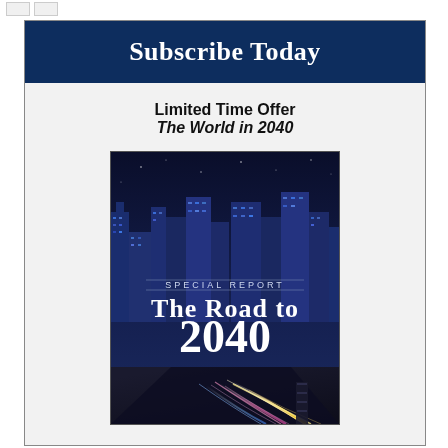Subscribe Today
Limited Time Offer
The World in 2040
[Figure (illustration): Book cover for 'The Road to 2040' Special Report, showing a city night scene with light trails on a highway and skyscraper skyline in the background.]